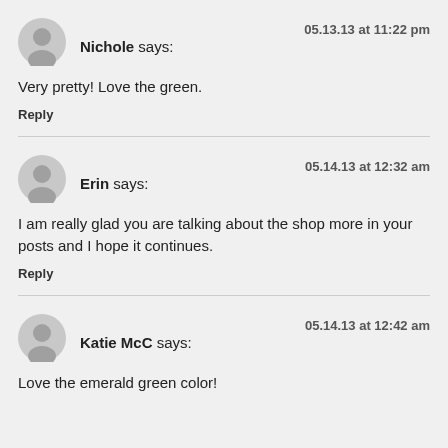Nichole says: — 05.13.13 at 11:22 pm
Very pretty! Love the green.
Reply
Erin says: — 05.14.13 at 12:32 am
I am really glad you are talking about the shop more in your posts and I hope it continues.
Reply
Katie McC says: — 05.14.13 at 12:42 am
Love the emerald green color!